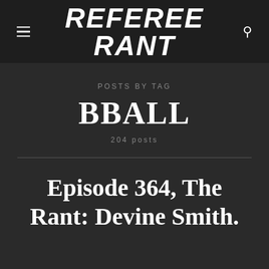REFEREE RANT
Posts by tag
BBALL
204 posts
Episode 364, The Rant: Devine Smith.